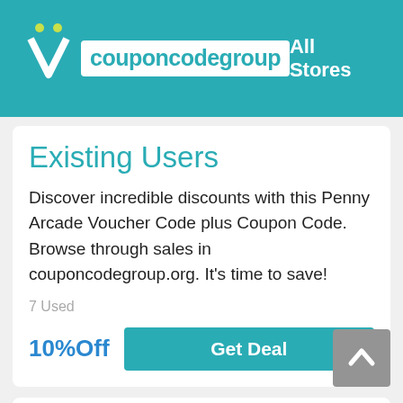couponcodegroup  All Stores
Existing Users
Discover incredible discounts with this Penny Arcade Voucher Code plus Coupon Code. Browse through sales in couponcodegroup.org. It's time to save!
7 Used
10%Off  Get Deal
Activate 10% Off Existing Customers Discount When